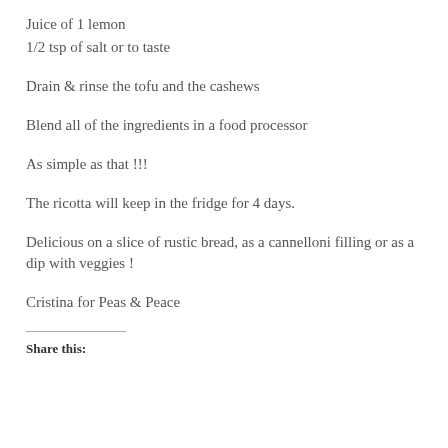Juice of 1 lemon
1/2 tsp of salt or to taste
Drain & rinse the tofu and the cashews
Blend all of the ingredients in a food processor
As simple as that !!!
The ricotta will keep in the fridge for 4 days.
Delicious on a slice of rustic bread, as a cannelloni filling or as a dip with veggies !
Cristina for Peas & Peace
Share this: